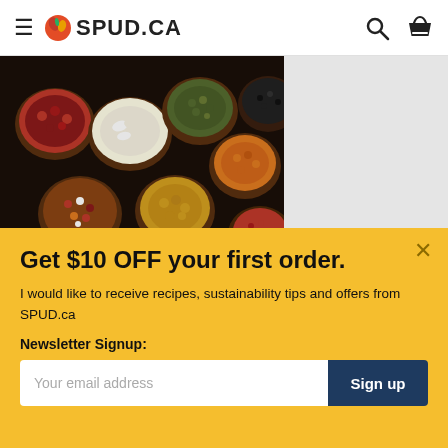≡ SPUD.CA
[Figure (photo): Various bowls of colorful legumes, beans, lentils, and seeds arranged on a dark background]
World
Donating
is donat
May 13,
Featured
SPUD Ec
Get $10 OFF your first order.
I would like to receive recipes, sustainability tips and offers from SPUD.ca
Newsletter Signup:
Your email address